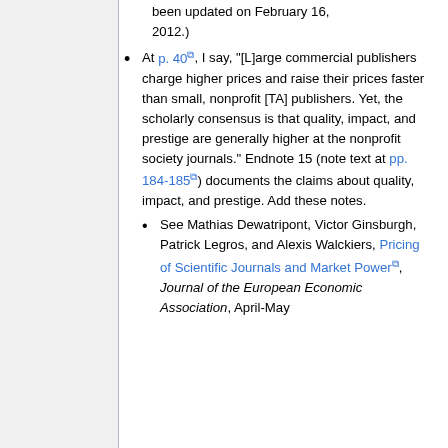(continuation) been updated on February 16, 2012.)
At p. 40, I say, "[L]arge commercial publishers charge higher prices and raise their prices faster than small, nonprofit [TA] publishers. Yet, the scholarly consensus is that quality, impact, and prestige are generally higher at the nonprofit society journals." Endnote 15 (note text at pp. 184-185) documents the claims about quality, impact, and prestige. Add these notes.
See Mathias Dewatripont, Victor Ginsburgh, Patrick Legros, and Alexis Walckiers, Pricing of Scientific Journals and Market Power, Journal of the European Economic Association, April-May 2007.